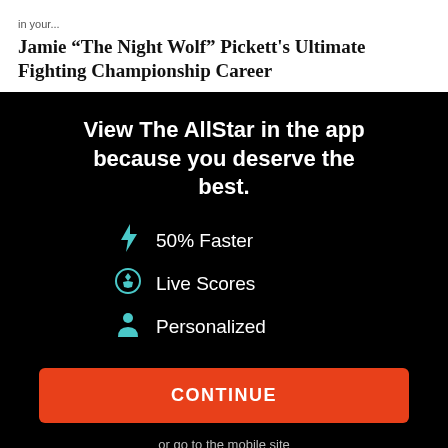in your...
Jamie “The Night Wolf” Pickett's Ultimate Fighting Championship Career
View The AllStar in the app because you deserve the best.
50% Faster
Live Scores
Personalized
CONTINUE
or go to the mobile site